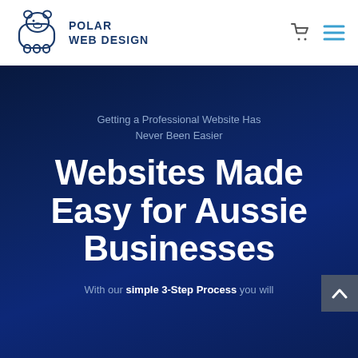[Figure (logo): Polar Web Design logo with a white polar bear icon and dark blue text reading POLAR WEB DESIGN]
Polar Web Design — navigation header with cart icon and hamburger menu
Getting a Professional Website Has Never Been Easier
Websites Made Easy for Aussie Businesses
With our simple 3-Step Process you will